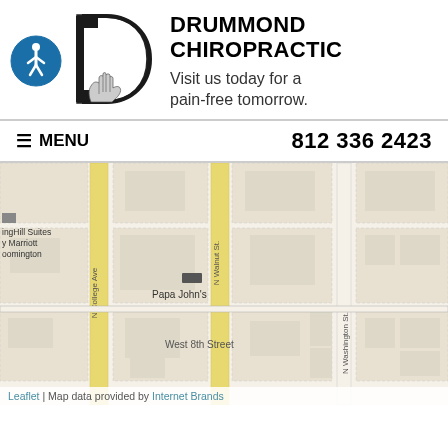[Figure (logo): Drummond Chiropractic logo with accessibility icon (blue circle with wheelchair user), large D letterform, and hand illustration]
DRUMMOND CHIROPRACTIC
Visit us today for a pain-free tomorrow.
≡ MENU   812 336 2423
[Figure (map): Street map showing intersection near Drummond Chiropractic in Bloomington, Indiana. Visible streets include N College Ave, N Walnut St, N Washington St, West 8th Street. Landmarks include SpringHill Suites by Marriott Bloomington and Papa John's. Map data provided by Leaflet and Internet Brands.]